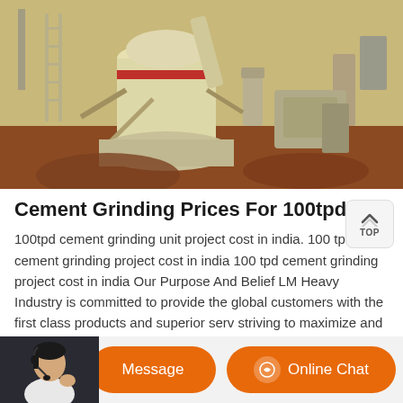[Figure (photo): Industrial cement grinding mill machinery installed at a construction site, showing a large cream/yellow colored vertical mill with pipes, conveyor components, and auxiliary equipment on red/brown soil.]
Cement Grinding Prices For 100tpd
100tpd cement grinding unit project cost in india. 100 tpd cement grinding project cost in india 100 tpd cement grinding project cost in india Our Purpose And Belief LM Heavy Industry is committed to provide the global customers with the first class products and superior serv striving to maximize and optimize the interests and values of the customers and build bright
[Figure (photo): Chat bar with customer service agent photo, Message button, and Online Chat button in orange.]